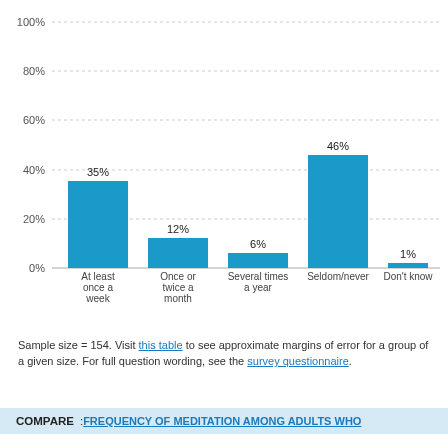[Figure (bar-chart): ]
Sample size = 154. Visit this table to see approximate margins of error for a group of a given size. For full question wording, see the survey questionnaire.
COMPARE: FREQUENCY OF MEDITATION AMONG ADULTS WHO